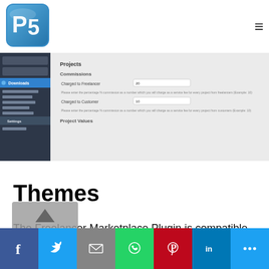[Figure (logo): PS5 blue square logo icon with stylized PS letters]
[Figure (screenshot): WordPress admin panel screenshot showing Freelancer Marketplace plugin settings with Projects, Commissions fields for Charged to Freelancer (20) and Charged to Customer (10), and Project Values section]
Themes
The Freelancer Marketplace Plugin is compatible with some of the free WordPress Themes such as
[Figure (infographic): Social sharing bar with Facebook, Twitter, Email, WhatsApp, Pinterest, LinkedIn, and More buttons]